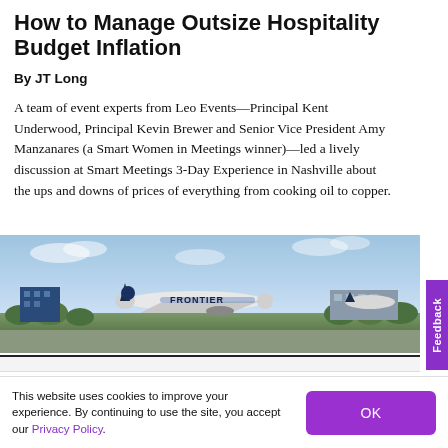How to Manage Outsize Hospitality Budget Inflation
By JT Long
A team of event experts from Leo Events—Principal Kent Underwood, Principal Kevin Brewer and Senior Vice President Amy Manzanares (a Smart Women in Meetings winner)—led a lively discussion at Smart Meetings 3-Day Experience in Nashville about the ups and downs of prices of everything from cooking oil to copper.
[Figure (photo): A Frontier Airlines airplane taking off or landing at an airport, with blue sky, buildings, and green trees in the background.]
This website uses cookies to improve your experience. By continuing to use the site, you accept our Privacy Policy.